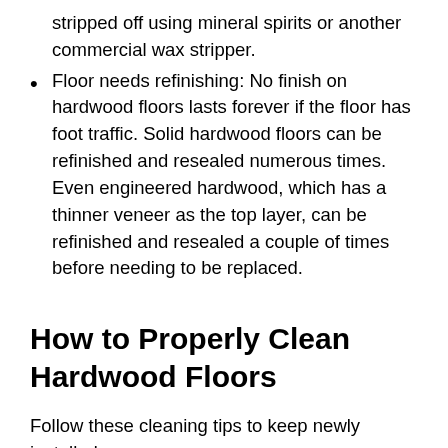stripped off using mineral spirits or another commercial wax stripper.
Floor needs refinishing: No finish on hardwood floors lasts forever if the floor has foot traffic. Solid hardwood floors can be refinished and resealed numerous times. Even engineered hardwood, which has a thinner veneer as the top layer, can be refinished and resealed a couple of times before needing to be replaced.
How to Properly Clean Hardwood Floors
Follow these cleaning tips to keep newly installed or